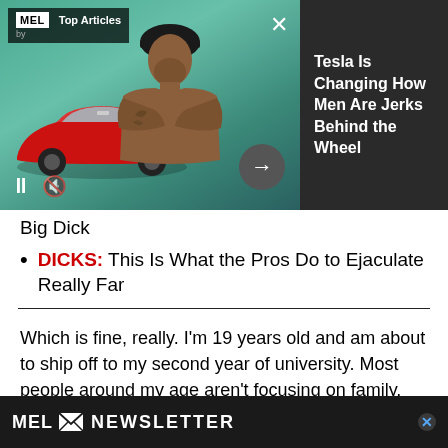[Figure (screenshot): MEL Magazine Top Articles video player widget showing a muscular man with arms crossed in front of a red Tesla car on a teal background. Controls include pause, mute, and next arrow. Adjacent dark panel shows article title 'Tesla Is Changing How Men Are Jerks Behind the Wheel'.]
Big Dick
DICKS: This Is What the Pros Do to Ejaculate Really Far
Which is fine, really. I'm 19 years old and am about to ship off to my second year of university. Most people around my age aren't focusing on family, and it's not something I worried about at all. [when I had...]
[Figure (screenshot): MEL Newsletter signup bar at bottom of page with MEL logo and envelope icon followed by 'NEWSLETTER' text in white on black background, with X close button.]